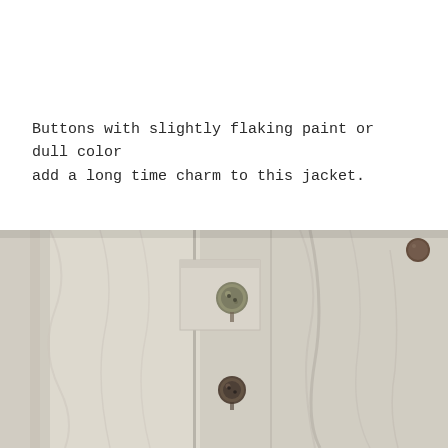Buttons with slightly flaking paint or dull color add a long time charm to this jacket.
[Figure (photo): Close-up photograph of a light linen jacket showing buttons with aged, flaking paint in olive/brown tones against the white/cream fabric.]